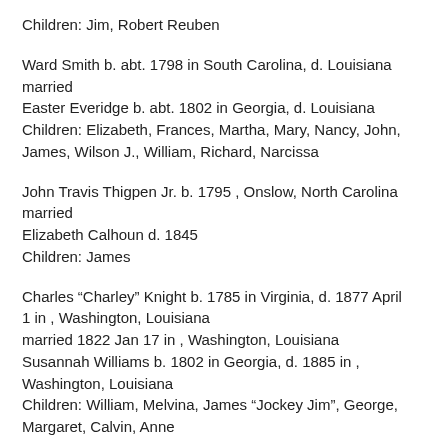Children: Jim, Robert Reuben
Ward Smith b. abt. 1798 in South Carolina, d. Louisiana married Easter Everidge b. abt. 1802 in Georgia, d. Louisiana Children: Elizabeth, Frances, Martha, Mary, Nancy, John, James, Wilson J., William, Richard, Narcissa
John Travis Thigpen Jr. b. 1795 , Onslow, North Carolina married Elizabeth Calhoun d. 1845 Children: James
Charles “Charley” Knight b. 1785 in Virginia, d. 1877 April 1 in , Washington, Louisiana married 1822 Jan 17 in , Washington, Louisiana Susannah Williams b. 1802 in Georgia, d. 1885 in , Washington, Louisiana Children: William, Melvina, James “Jockey Jim”, George, Margaret, Calvin, Anne